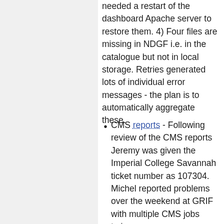needed a restart of the dashboard Apache server to restore them. 4) Four files are missing in NDGF i.e. in the catalogue but not in local storage. Retries generated lots of individual error messages - the plan is to automatically aggregate these.
CMS reports - Following review of the CMS reports Jeremy was given the Imperial College Savannah ticket number as 107304. Michel reported problems over the weekend at GRIF with multiple CMS jobs trying